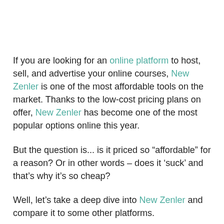If you are looking for an online platform to host, sell, and advertise your online courses, New Zenler is one of the most affordable tools on the market. Thanks to the low-cost pricing plans on offer, New Zenler has become one of the most popular options online this year.
But the question is... is it priced so “affordable” for a reason? Or in other words – does it ‘suck’ and that’s why it’s so cheap?
Well, let’s take a deep dive into New Zenler and compare it to some other platforms.
Just before we do, there’s a couple important things to touch base on.